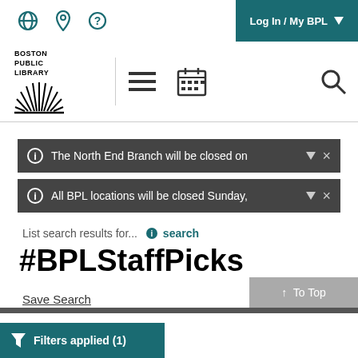Log In / My BPL
[Figure (logo): Boston Public Library logo with text and sunburst/leaf icon]
The North End Branch will be closed on
All BPL locations will be closed Sunday,
List search results for...
#BPLStaffPicks
Save Search
↑ To Top
Filters applied (1)